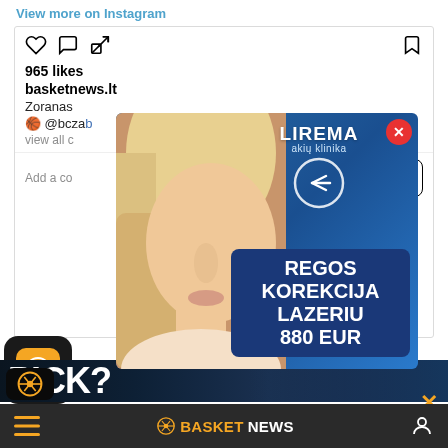View more on Instagram
965 likes
basketnews.lt
Zoranas
🏀 @bczal...
view all c...
Add a co...
[Figure (advertisement): Lirema akių klinika advertisement with a woman's face profile and text REGOS KOREKCIJA LAZERIU 880 EUR]
[Figure (photo): Basketball players banner with text PICK?]
BASKETNEWS